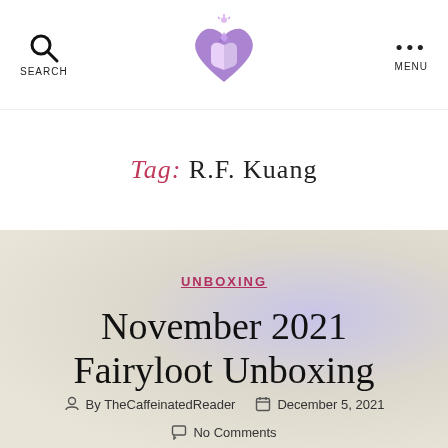Search | [Logo] | Menu
Tag: R.F. Kuang
UNBOXING
November 2021 Fairyloot Unboxing
By TheCaffeinatedReader  December 5, 2021
No Comments